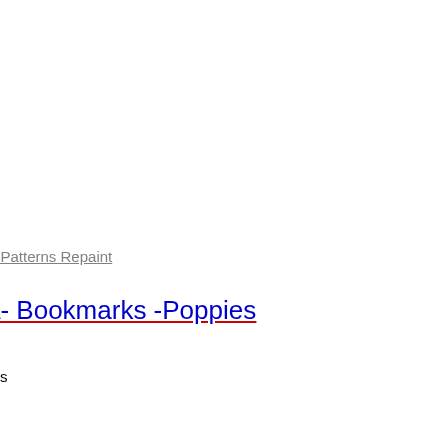n Patterns Repaint
a- Bookmarks -Poppies
s